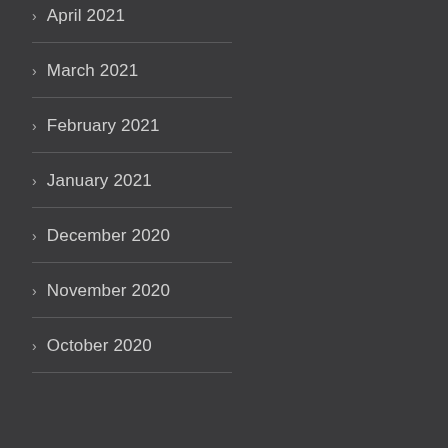April 2021
March 2021
February 2021
January 2021
December 2020
November 2020
October 2020